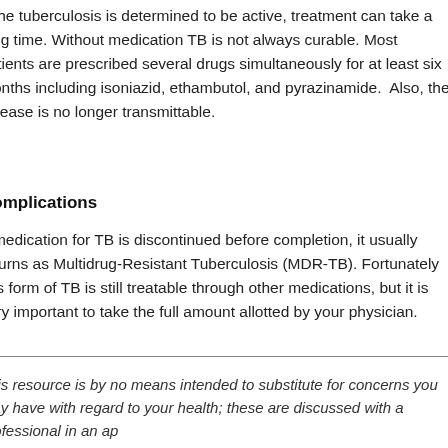If the tuberculosis is determined to be active, treatment can take a long time. Without medication TB is not always curable. Most patients are prescribed several drugs simultaneously for at least six months including isoniazid, ethambutol, and pyrazinamide. Also, the disease is no longer transmittable.
Complications
If medication for TB is discontinued before completion, it usually returns as Multidrug-Resistant Tuberculosis (MDR-TB). Fortunately this form of TB is still treatable through other medications, but it is very important to take the full amount allotted by your physician.
This resource is by no means intended to substitute for concerns you may have with regard to your health; these are discussed with a professional in an ap